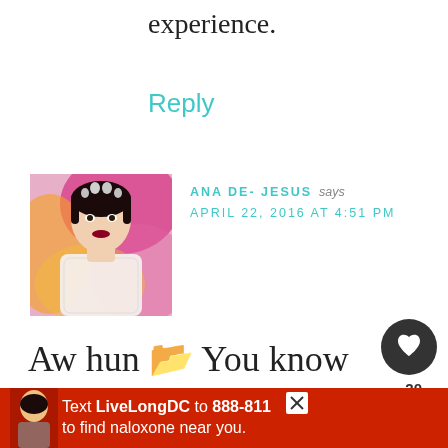experience.
Reply
[Figure (photo): Avatar photo of Ana De-Jesus, a woman in a white lace dress with a floral headpiece against a colorful painted background]
ANA DE- JESUS says
APRIL 22, 2016 AT 4:51 PM
Aw hun 💕 You know that you have my support anytime you like it but most of all you have all your readers
[Figure (screenshot): UI overlay showing heart/like button (20 likes) and share button]
[Figure (screenshot): What's Next overlay: Foods to Avoid After...]
[Figure (screenshot): Bottom advertisement bar: Text LiveLongDC to 888-811 to find naloxone near you.]